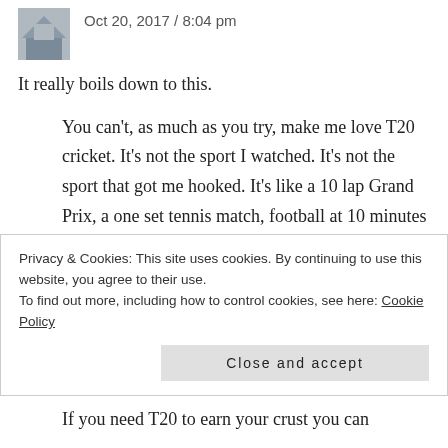Oct 20, 2017 / 8:04 pm
It really boils down to this.
You can't, as much as you try, make me love T20 cricket. It's not the sport I watched. It's not the sport that got me hooked. It's like a 10 lap Grand Prix, a one set tennis match, football at 10 minutes each way, darts at 201 a leg. Sure, you might use the same equipment, it might look like it, but it's not the (form of) game I like, and was seen as the
Privacy & Cookies: This site uses cookies. By continuing to use this website, you agree to their use.
To find out more, including how to control cookies, see here: Cookie Policy
Close and accept
If you need T20 to earn your crust you can